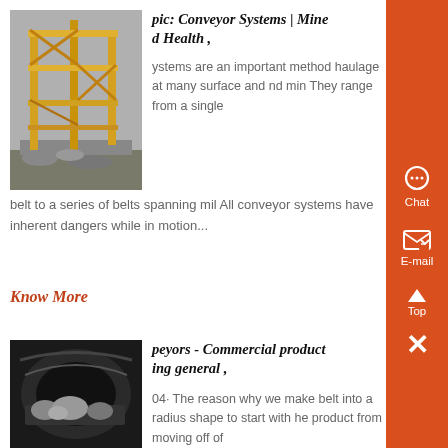[Figure (photo): Yellow metal scaffolding/conveyor support structure at a mining site]
pic: Conveyor Systems | Mine d Health ,
ystems are an important method haulage at many surface and nd min They range from a single belt to a series of belts spanning mil All conveyor systems have inherent dangers while in motion...
Know More
[Figure (photo): Dark underground conveyor belt tunnel with rock/stone material]
peyors - Commercial product ing general ,
04· The reason why we make belt into a radius shape to start with he product from moving off of the sides and onto the floor I have been